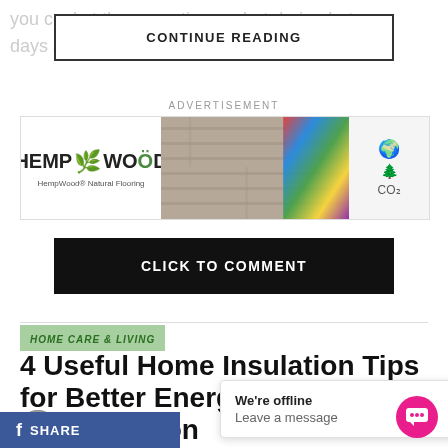you cool at the same time — but during hot days a… and
CONTINUE READING
ADVERTISEMENT
[Figure (photo): HempWood Natural Flooring advertisement banner showing wood flooring and colorful rug with eco icons]
CLICK TO COMMENT
HOME CARE & LIVING
4 Useful Home Insulation Tips for Better Energy Conservation
Published 2 we…  By Garden & Gr…
f  SHARE
We're offline
Leave a message